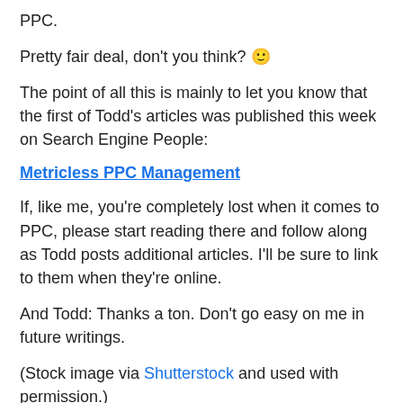PPC.
Pretty fair deal, don't you think? 🙂
The point of all this is mainly to let you know that the first of Todd's articles was published this week on Search Engine People:
Metricless PPC Management
If, like me, you're completely lost when it comes to PPC, please start reading there and follow along as Todd posts additional articles. I'll be sure to link to them when they're online.
And Todd: Thanks a ton. Don't go easy on me in future writings.
(Stock image via Shutterstock and used with permission.)
Comments (2)
Trackback URL | Comments RSS Feed